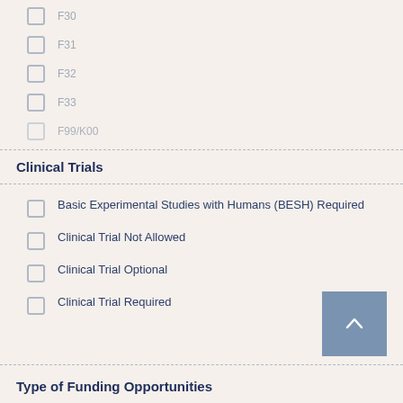F30
F31
F32
F33
F99/K00
Clinical Trials
Basic Experimental Studies with Humans (BESH) Required
Clinical Trial Not Allowed
Clinical Trial Optional
Clinical Trial Required
Type of Funding Opportunities